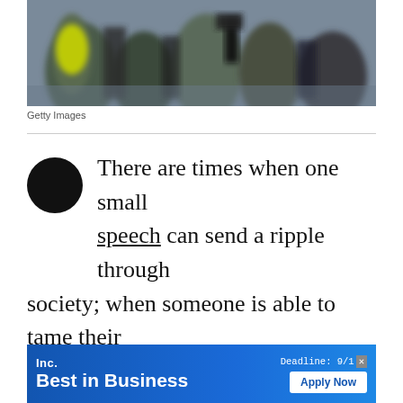[Figure (photo): Blurred crowd of people at a protest or public gathering, one person wearing a bright yellow/green vest visible on the left side]
Getty Images
There are times when one small speech can send a ripple through society; when someone is able to tame their emotions and find the perfect words to deliver a message that most people couldn't articulate.